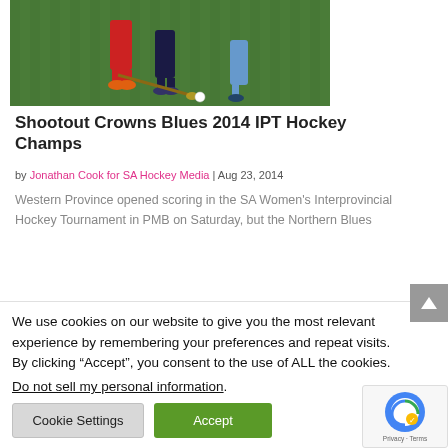[Figure (photo): Field hockey players' legs on green turf during a match, showing red socks and orange shoes holding a hockey stick near a ball]
Shootout Crowns Blues 2014 IPT Hockey Champs
by Jonathan Cook for SA Hockey Media | Aug 23, 2014
Western Province opened scoring in the SA Women's Interprovincial Hockey Tournament in PMB on Saturday, but the Northern Blues
We use cookies on our website to give you the most relevant experience by remembering your preferences and repeat visits. By clicking “Accept”, you consent to the use of ALL the cookies.
Do not sell my personal information.